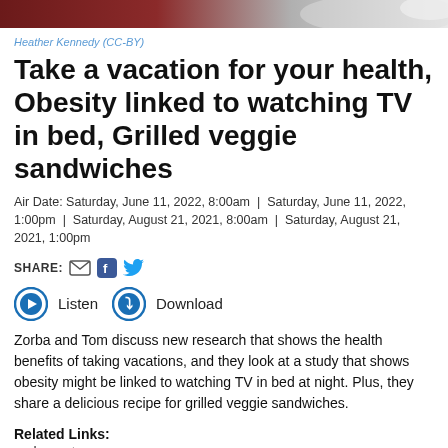[Figure (photo): Cropped food/sandwich photo at top of page]
Heather Kennedy (CC-BY)
Take a vacation for your health, Obesity linked to watching TV in bed, Grilled veggie sandwiches
Air Date: Saturday, June 11, 2022, 8:00am | Saturday, June 11, 2022, 1:00pm | Saturday, August 21, 2021, 8:00am | Saturday, August 21, 2021, 1:00pm
SHARE: [email icon] [facebook icon] [twitter icon]
Listen   Download
Zorba and Tom discuss new research that shows the health benefits of taking vacations, and they look at a study that shows obesity might be linked to watching TV in bed at night. Plus, they share a delicious recipe for grilled veggie sandwiches.
Related Links:
zorbapaster.org
Host(s):